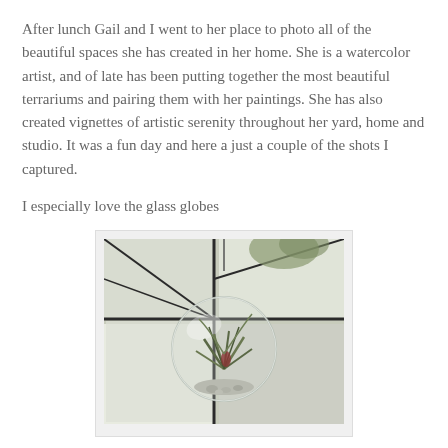After lunch Gail and I went to her place to photo all of the beautiful spaces she has created in her home. She is a watercolor artist, and of late has been putting together the most beautiful terrariums and pairing them with her paintings. She has also created vignettes of artistic serenity throughout her yard, home and studio. It was a fun day and here a just a couple of the shots I captured.
I especially love the glass globes
[Figure (photo): A hanging glass globe terrarium with an air plant inside and decorative pebbles at the bottom, photographed against a stained glass window background.]
Here is one of several koi in her koi pond. A deck overlooks the pond and...